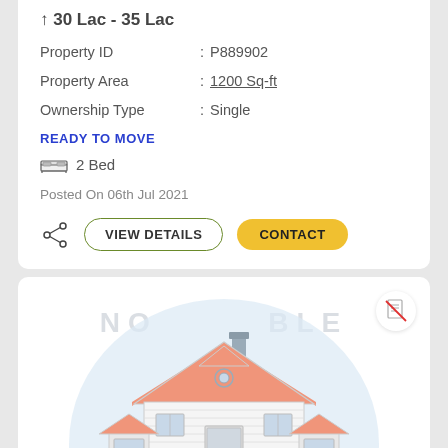30 Lac - 35 Lac
Property ID : P889902
Property Area : 1200 Sq-ft
Ownership Type : Single
READY TO MOVE
2 Bed
Posted On 06th Jul 2021
VIEW DETAILS   CONTACT
[Figure (illustration): House illustration with a light blue semicircle background, showing a two-story house with orange-pink roof, gray walls, white horizontal siding, a circular window in the gable, and a chimney. Watermark text partially visible reading 'NO ... BLE'.]